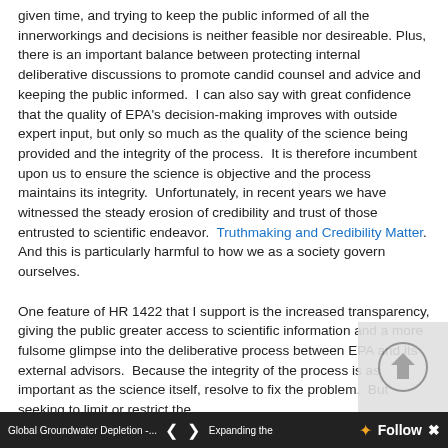given time, and trying to keep the public informed of all the innerworkings and decisions is neither feasible nor desireable. Plus, there is an important balance between protecting internal deliberative discussions to promote candid counsel and advice and keeping the public informed.  I can also say with great confidence that the quality of EPA's decision-making improves with outside expert input, but only so much as the quality of the science being provided and the integrity of the process.  It is therefore incumbent upon us to ensure the science is objective and the process maintains its integrity.  Unfortunately, in recent years we have witnessed the steady erosion of credibility and trust of those entrusted to scientific endeavor.  Truthmaking and Credibility Matter.  And this is particularly harmful to how we as a society govern ourselves.

One feature of HR 1422 that I support is the increased transparency, giving the public greater access to scientific information and a more fulsome glimpse into the deliberative process between EPA and its external advisors.  Because the integrity of the process is as important as the science itself, resolve to fix the problem.  But seeking to limit or restrict the SAB scientists to EPA simply goes to far.  And for that r... Gibson cast the correct vote.  Now, perhaps the Senat
Global Groundwater Depletion -...    < >    Expanding the    ✦ Follow  ✕